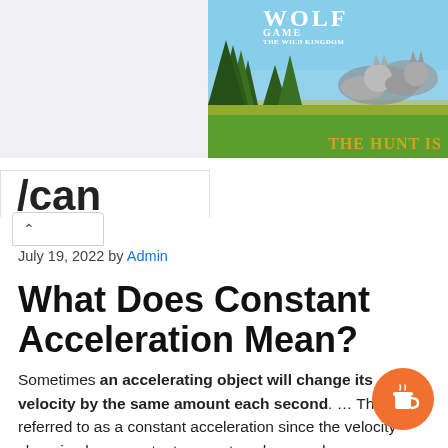[Figure (screenshot): Wolf Game advertisement banner with wolves, forest background, 'THE HUNT IS' text in gold]
July 19, 2022 by Admin
What Does Constant Acceleration Mean?
Sometimes an accelerating object will change its velocity by the same amount each second. ... This is referred to as a constant acceleration since the velocity changing by a constant amount each second.
[Figure (illustration): Orange circular coffee tip button with cup icon]